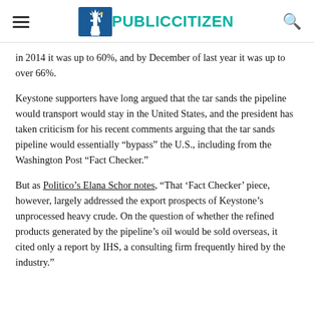PUBLIC CITIZEN
in 2014 it was up to 60%, and by December of last year it was up to over 66%.
Keystone supporters have long argued that the tar sands the pipeline would transport would stay in the United States, and the president has taken criticism for his recent comments arguing that the tar sands pipeline would essentially “bypass” the U.S., including from the Washington Post “Fact Checker.”
But as Politico’s Elana Schor notes, “That ‘Fact Checker’ piece, however, largely addressed the export prospects of Keystone’s unprocessed heavy crude. On the question of whether the refined products generated by the pipeline’s oil would be sold overseas, it cited only a report by IHS, a consulting firm frequently hired by the industry.”